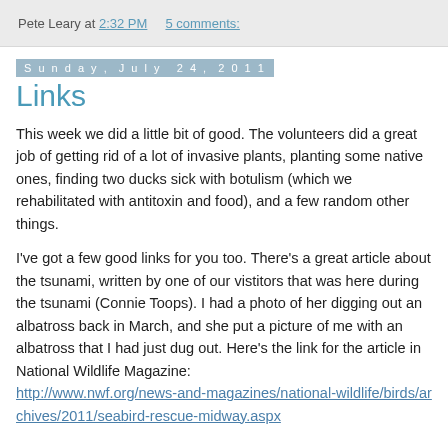Pete Leary at 2:32 PM   5 comments:
Sunday, July 24, 2011
Links
This week we did a little bit of good.  The volunteers did a great job of getting rid of a lot of invasive plants, planting some native ones, finding two ducks sick with botulism (which we rehabilitated with antitoxin and food), and a few random other things.
I've got a few good links for you too. There's a great article about the tsunami, written by one of our vistitors that was here during the tsunami (Connie Toops).  I had a photo of her digging out an albatross back in March, and she put a picture of me with an albatross that I had just dug out. Here's the link for the article in National Wildlife Magazine: http://www.nwf.org/news-and-magazines/national-wildlife/birds/archives/2011/seabird-rescue-midway.aspx